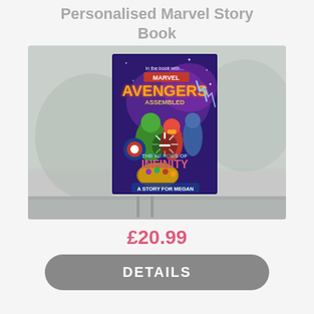Personalised Marvel Story Book
[Figure (photo): Product photo of a personalised Marvel Avengers story book titled 'The Heroes of Infinity: A Story for Megan', showing superheroes including Hulk, Iron Man, Thor, and Captain America on the cover, placed on a shelf with a loading spinner overlay icon visible]
£20.99
DETAILS